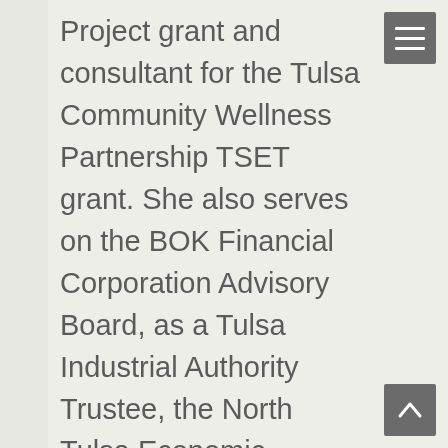Project grant and consultant for the Tulsa Community Wellness Partnership TSET grant. She also serves on the BOK Financial Corporation Advisory Board, as a Tulsa Industrial Authority Trustee, the North Tulsa Economic Development Initiative Chairperson, and the Business Industrial Development